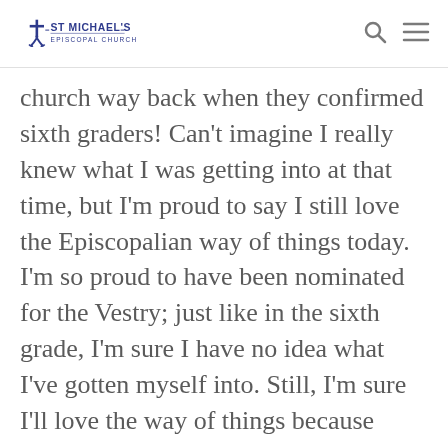St Michael's Episcopal Church
church way back when they confirmed sixth graders! Can't imagine I really knew what I was getting into at that time, but I'm proud to say I still love the Episcopalian way of things today. I'm so proud to have been nominated for the Vestry; just like in the sixth grade, I'm sure I have no idea what I've gotten myself into. Still, I'm sure I'll love the way of things because what I have seen and experienced so far